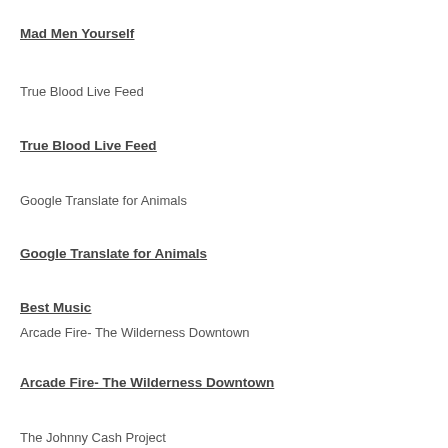Mad Men Yourself
True Blood Live Feed
True Blood Live Feed
Google Translate for Animals
Google Translate for Animals
Best Music
Arcade Fire- The Wilderness Downtown
Arcade Fire- The Wilderness Downtown
The Johnny Cash Project